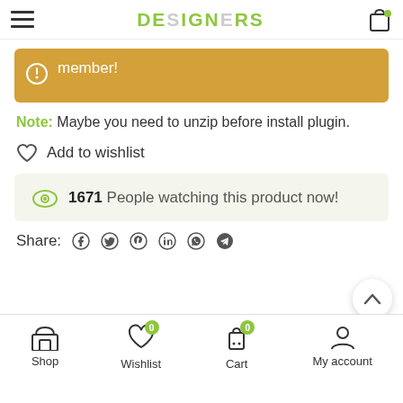DESIGNERS
member!
Note: Maybe you need to unzip before install plugin.
Add to wishlist
1671 People watching this product now!
Share:
Shop  Wishlist 0  Cart 0  My account